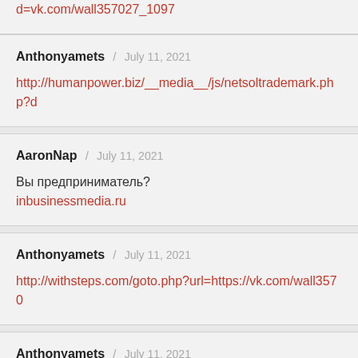d=vk.com/wall357027_1097
Anthonyamets / July 11, 2021
http://humanpower.biz/__media__/js/netsoltrademark.php?d=...
AaronNap / July 11, 2021
Вы предприниматель?
inbusinessmedia.ru
Anthonyamets / July 11, 2021
http://withsteps.com/goto.php?url=https://vk.com/wall3570...
Anthonyamets / July 11, 2021